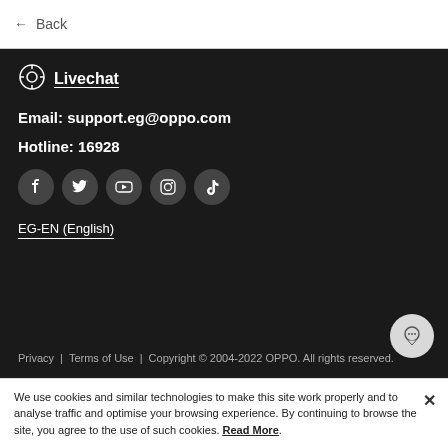← Back
Livechat
Email: support.eg@oppo.com
Hotline: 16928
[Figure (other): Row of 5 social media icons: Facebook, Twitter, YouTube, Instagram, TikTok]
EG-EN (English)
Privacy | Terms of Use | Copyright © 2004-2022 OPPO. All rights reserved.
We use cookies and similar technologies to make this site work properly and to analyse traffic and optimise your browsing experience. By continuing to browse the site, you agree to the use of such cookies. Read More.